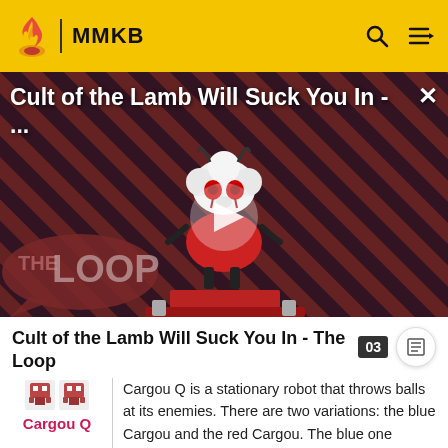MMKB
[Figure (screenshot): Video thumbnail showing 'Cult of the Lamb Will Suck You In - ...' with a cartoon lamb character on a striped red and dark background, The Loop branding at bottom left, and a play button in center]
Cult of the Lamb Will Suck You In - The Loop
Cargou Q is a stationary robot that throws balls at its enemies. There are two variations: the blue Cargou and the red Cargou. The blue one throws balls that bounces in a pattern, making them